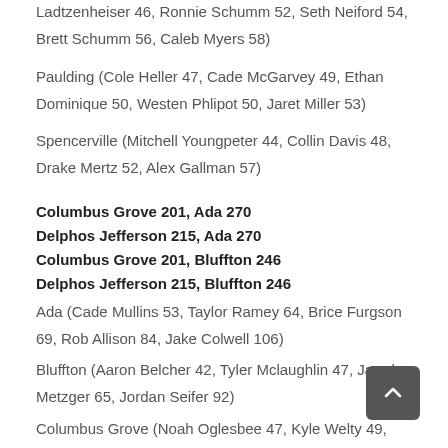Ladtzenheiser 46, Ronnie Schumm 52, Seth Neiford 54, Brett Schumm 56, Caleb Myers 58)
Paulding (Cole Heller 47, Cade McGarvey 49, Ethan Dominique 50, Westen Phlipot 50, Jaret Miller 53)
Spencerville (Mitchell Youngpeter 44, Collin Davis 48, Drake Mertz 52, Alex Gallman 57)
Columbus Grove 201, Ada 270
Delphos Jefferson 215, Ada 270
Columbus Grove 201, Bluffton 246
Delphos Jefferson 215, Bluffton 246
Ada (Cade Mullins 53, Taylor Ramey 64, Brice Furgson 69, Rob Allison 84, Jake Colwell 106)
Bluffton (Aaron Belcher 42, Tyler Mclaughlin 47, Jared Metzger 65, Jordan Seifer 92)
Columbus Grove (Noah Oglesbee 47, Kyle Welty 49,